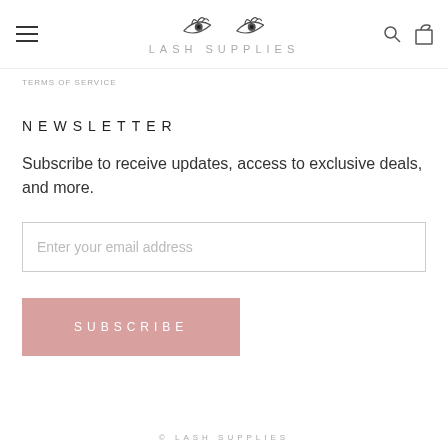[Figure (logo): Lash Supplies logo with illustrated eyes above the text LASH SUPPLIES in spaced letters]
TERMS OF SERVICE
NEWSLETTER
Subscribe to receive updates, access to exclusive deals, and more.
Enter your email address
SUBSCRIBE
© LASH SUPPLIES